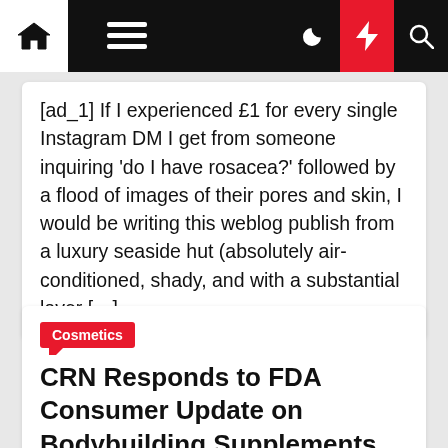Navigation bar with home, menu, dark mode, flash, and search icons
[ad_1] If I experienced £1 for every single Instagram DM I get from someone inquiring 'do I have rosacea?' followed by a flood of images of their pores and skin, I would be writing this weblog publish from a luxury seaside hut (absolutely air-conditioned, shady, and with a substantial lover […]
Cosmetics
CRN Responds to FDA Consumer Update on Bodybuilding Supplements
magenet  3 months ago